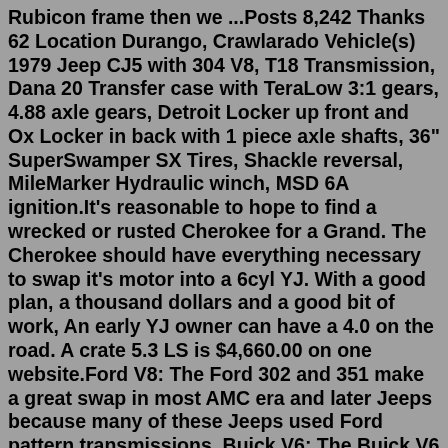Rubicon frame then we ...Posts 8,242 Thanks 62 Location Durango, Crawlarado Vehicle(s) 1979 Jeep CJ5 with 304 V8, T18 Transmission, Dana 20 Transfer case with TeraLow 3:1 gears, 4.88 axle gears, Detroit Locker up front and Ox Locker in back with 1 piece axle shafts, 36" SuperSwamper SX Tires, Shackle reversal, MileMarker Hydraulic winch, MSD 6A ignition.It's reasonable to hope to find a wrecked or rusted Cherokee for a Grand. The Cherokee should have everything necessary to swap it's motor into a 6cyl YJ. With a good plan, a thousand dollars and a good bit of work, An early YJ owner can have a 4.0 on the road. A crate 5.3 LS is $4,660.00 on one website.Ford V8: The Ford 302 and 351 make a great swap in most AMC era and later Jeeps because many of these Jeeps used Ford pattern transmissions. Buick V6: The Buick V6 225, 231, and 252 are great swaps for most early Jeeps because of their external size, power, and cost. Chevy V6: The 4.3L Chevy V6 is a great swap for nearly any Jeep. Power in Your Jeep